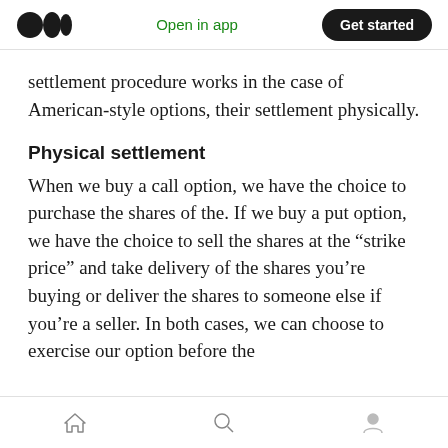Open in app | Get started
settlement procedure works in the case of American-style options, their settlement physically.
Physical settlement
When we buy a call option, we have the choice to purchase the shares of the. If we buy a put option, we have the choice to sell the shares at the “strike price” and take delivery of the shares you’re buying or deliver the shares to someone else if you’re a seller. In both cases, we can choose to exercise our option before the
Home | Search | Profile